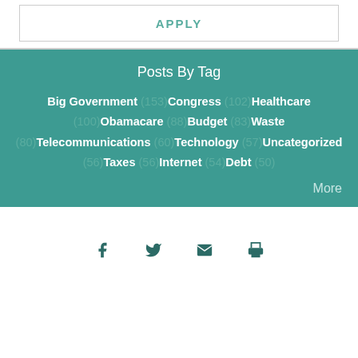APPLY
Posts By Tag
Big Government (153) Congress (102) Healthcare (100) Obamacare (88) Budget (83) Waste (80) Telecommunications (60) Technology (57) Uncategorized (56) Taxes (56) Internet (54) Debt (50)
More
[Figure (infographic): Social media sharing icons: Facebook, Twitter, Email, Print]